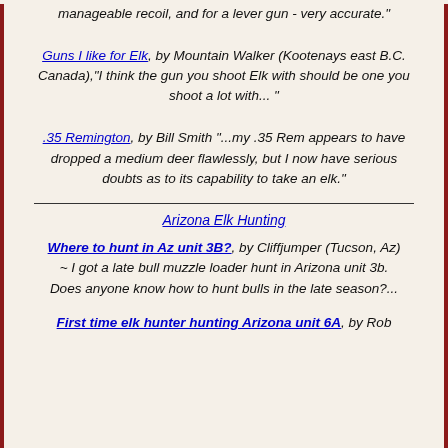manageable recoil, and for a lever gun - very accurate."
Guns I like for Elk, by Mountain Walker (Kootenays east B.C. Canada),"I think the gun you shoot Elk with should be one you shoot a lot with... "
.35 Remington, by Bill Smith "...my .35 Rem appears to have dropped a medium deer flawlessly, but I now have serious doubts as to its capability to take an elk."
Arizona Elk Hunting
Where to hunt in Az unit 3B?, by Cliffjumper (Tucson, Az) ~ I got a late bull muzzle loader hunt in Arizona unit 3b. Does anyone know how to hunt bulls in the late season?...
First time elk hunter hunting Arizona unit 6A, by Rob